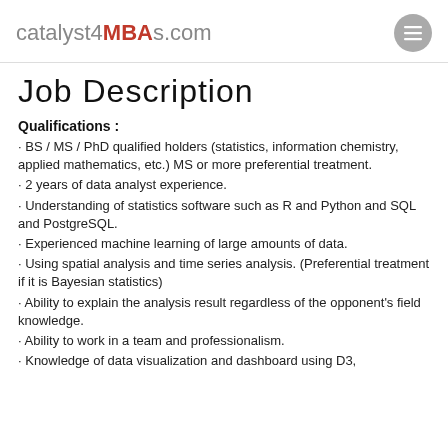catalyst4MBAs.com
Job Description
Qualifications :
· BS / MS / PhD qualified holders (statistics, information chemistry, applied mathematics, etc.) MS or more preferential treatment.
· 2 years of data analyst experience.
· Understanding of statistics software such as R and Python and SQL and PostgreSQL.
· Experienced machine learning of large amounts of data.
· Using spatial analysis and time series analysis. (Preferential treatment if it is Bayesian statistics)
· Ability to explain the analysis result regardless of the opponent's field knowledge.
· Ability to work in a team and professionalism.
· Knowledge of data visualization and dashboard using D3,